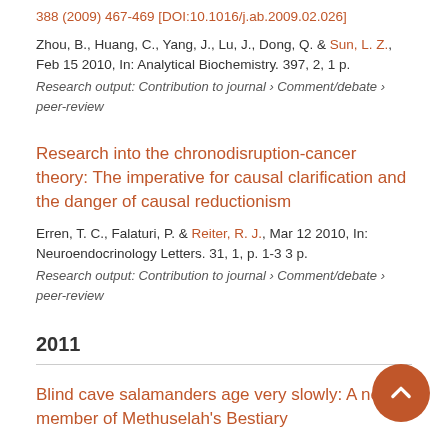388 (2009) 467-469 [DOI:10.1016/j.ab.2009.02.026]
Zhou, B., Huang, C., Yang, J., Lu, J., Dong, Q. & Sun, L. Z., Feb 15 2010, In: Analytical Biochemistry. 397, 2, 1 p.
Research output: Contribution to journal › Comment/debate › peer-review
Research into the chronodisruption-cancer theory: The imperative for causal clarification and the danger of causal reductionism
Erren, T. C., Falaturi, P. & Reiter, R. J., Mar 12 2010, In: Neuroendocrinology Letters. 31, 1, p. 1-3 3 p.
Research output: Contribution to journal › Comment/debate › peer-review
2011
Blind cave salamanders age very slowly: A new member of Methuselah's Bestiary